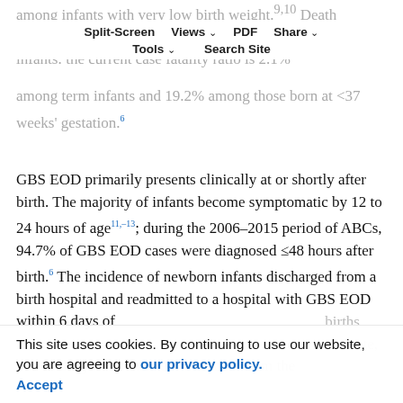among infants with very low birth weight.⁹¹⁰ Death attributable to GBS EOD occurs primarily among preterm infants: the current case fatality ratio is 2.1%
Split-Screen | Views | PDF | Share | Tools | Search Site
among term infants and 19.2% among those born at <37 weeks' gestation.⁶
GBS EOD primarily presents clinically at or shortly after birth. The majority of infants become symptomatic by 12 to 24 hours of age¹¹⁻¹³; during the 2006–2015 period of ABCs, 94.7% of GBS EOD cases were diagnosed ≤48 hours after birth.⁶ The incidence of newborn infants discharged from a birth hospital and readmitted to a hospital with GBS EOD within 6 days of
births
ate,
this finding was consistent with data from the
This site uses cookies. By continuing to use our website, you are agreeing to our privacy policy. Accept